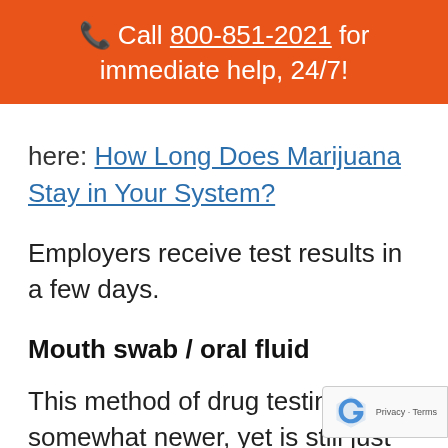📞 Call 800-851-2021 for immediate help, 24/7!
here: How Long Does Marijuana Stay in Your System?
Employers receive test results in a few days.
Mouth swab / oral fluid
This method of drug testing is somewhat newer, yet is still just as